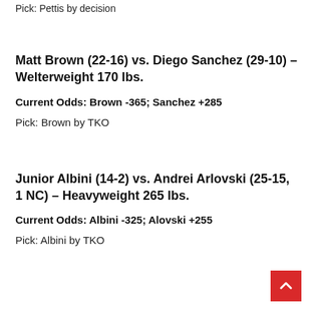Pick: Pettis by decision
Matt Brown (22-16) vs. Diego Sanchez (29-10) – Welterweight 170 lbs.
Current Odds: Brown -365; Sanchez +285
Pick: Brown by TKO
Junior Albini (14-2) vs. Andrei Arlovski (25-15, 1 NC) – Heavyweight 265 lbs.
Current Odds: Albini -325; Alovski +255
Pick: Albini by TKO